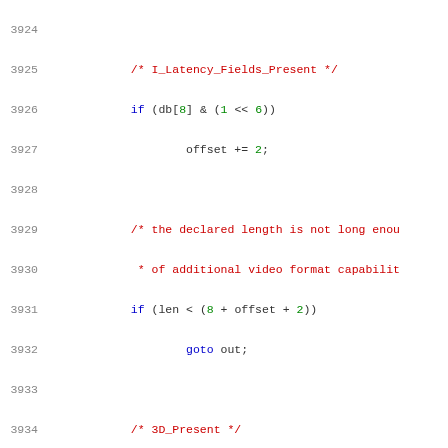[Figure (screenshot): Source code listing (C) showing lines 3924-3945, with syntax highlighting. Lines include HDMI-related C code with comments, if-statements, goto, offset manipulation, and variable assignments.]